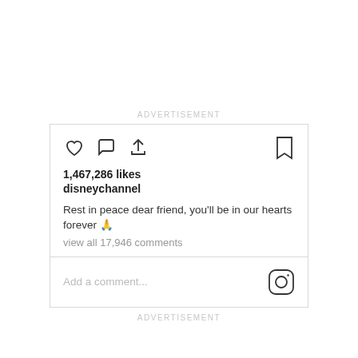ADVERTISEMENT
[Figure (screenshot): Instagram post card showing heart, comment, share icons on left and bookmark icon on right; 1,467,286 likes; username disneychannel; post text: Rest in peace dear friend, you'll be in our hearts forever; view all 17,946 comments; Add a comment section with Instagram logo icon]
ADVERTISEMENT